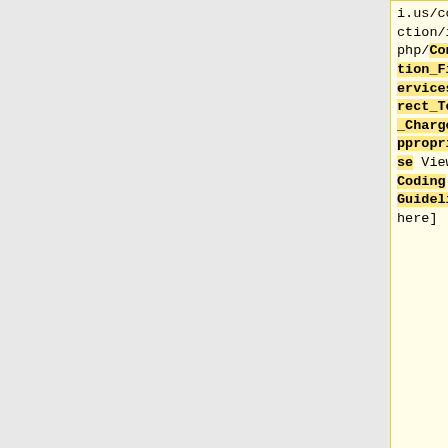i.us/construction/index.php/Construction_Field_Services_Indirect_Testing_Charges#Inappropriate_Use View Coding Guidelines here]
1234 (revision June 2021)|| [https://mdotwiki.state.mi.us/construction/index.php/102.02_Contents_of_Proposal_-_Progress_Clause#Boilerplate_Progress_Clause View Here]
|-
|-
| <center>6/16/2016</center>|| <center>1
| <center>6/16/2021</center>|| <center>1</c